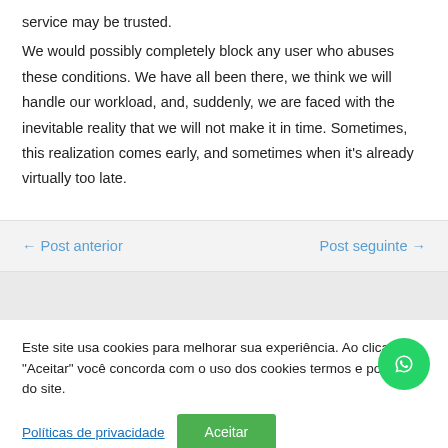service may be trusted.
We would possibly completely block any user who abuses these conditions. We have all been there, we think we will handle our workload, and, suddenly, we are faced with the inevitable reality that we will not make it in time. Sometimes, this realization comes early, and sometimes when it's already virtually too late.
← Post anterior
Post seguinte →
Este site usa cookies para melhorar sua experiência. Ao clicar em "Aceitar" você concorda com o uso dos cookies termos e políticas do site.
Políticas de privacidade
Aceitar